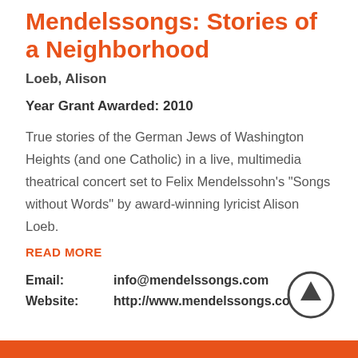Mendelssongs: Stories of a Neighborhood
Loeb, Alison
Year Grant Awarded: 2010
True stories of the German Jews of Washington Heights (and one Catholic) in a live, multimedia theatrical concert set to Felix Mendelssohn's "Songs without Words" by award-winning lyricist Alison Loeb.
READ MORE
Email: info@mendelssongs.com
Website: http://www.mendelssongs.com